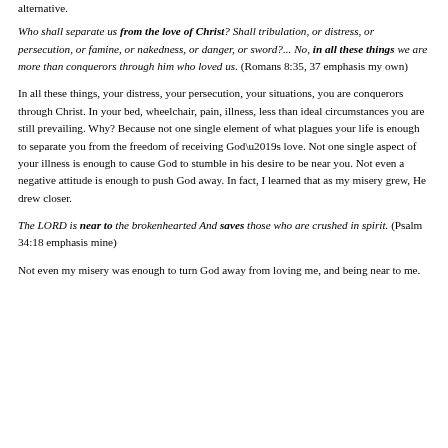alternative.
Who shall separate us from the love of Christ? Shall tribulation, or distress, or persecution, or famine, or nakedness, or danger, or sword?... No, in all these things we are more than conquerors through him who loved us. (Romans 8:35, 37 emphasis my own)
In all these things, your distress, your persecution, your situations, you are conquerors through Christ. In your bed, wheelchair, pain, illness, less than ideal circumstances you are still prevailing. Why? Because not one single element of what plagues your life is enough to separate you from the freedom of receiving God’s love. Not one single aspect of your illness is enough to cause God to stumble in his desire to be near you. Not even a negative attitude is enough to push God away. In fact, I learned that as my misery grew, He drew closer.
The LORD is near to the brokenhearted And saves those who are crushed in spirit. (Psalm 34:18 emphasis mine)
Not even my misery was enough to turn God away from loving me, and being near to me.